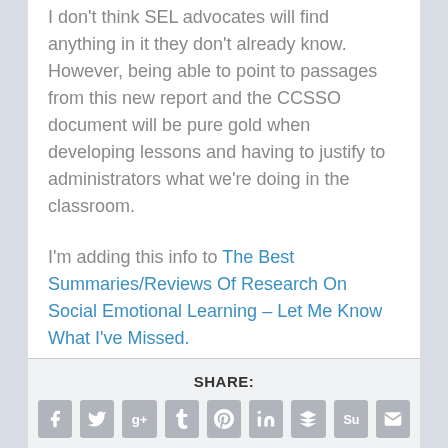I don't think SEL advocates will find anything in it they don't already know. However, being able to point to passages from this new report and the CCSSO document will be pure gold when developing lessons and having to justify to administrators what we're doing in the classroom.
I'm adding this info to The Best Summaries/Reviews Of Research On Social Emotional Learning – Let Me Know What I've Missed.
SHARE: